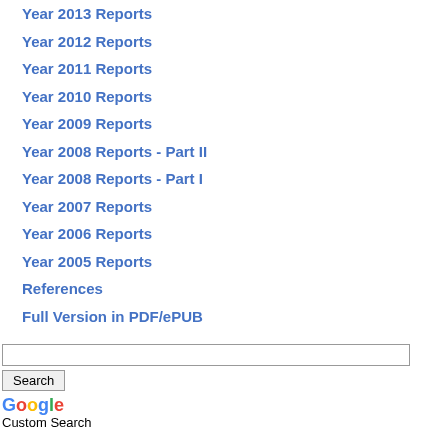Year 2013 Reports
Year 2012 Reports
Year 2011 Reports
Year 2010 Reports
Year 2009 Reports
Year 2008 Reports - Part II
Year 2008 Reports - Part I
Year 2007 Reports
Year 2006 Reports
Year 2005 Reports
References
Full Version in PDF/ePUB
Search
Google Custom Search